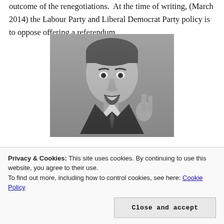outcome of the renegotiations. At the time of writing, (March 2014) the Labour Party and Liberal Democrat Party policy is to oppose offering a referendum.
[Figure (photo): Black and white photograph of a man (politician) speaking, with mouth open and hand raised, wearing a suit and tie.]
Privacy & Cookies: This site uses cookies. By continuing to use this website, you agree to their use.
To find out more, including how to control cookies, see here: Cookie Policy
[Figure (photo): Partial black and white photograph visible at the bottom of the page, showing a person in a suit.]